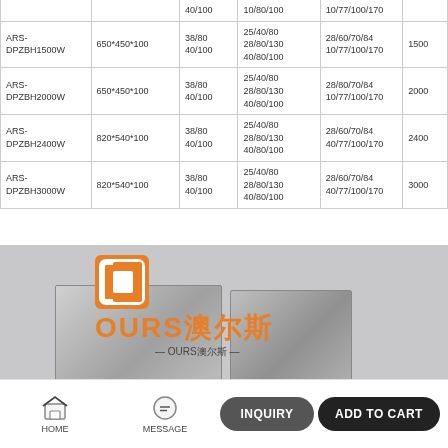| Model | Dimension(mm) | Frequency(kHz) | Power(W) options | Capacity(W) |
| --- | --- | --- | --- | --- |
|  |  | 40/100 | 10/80/100 | 10/77/100/170 |
| ARS-DPZBH1500W | 650*450*100 | 38/80
40/100 | 25/40/80
28/80/130
40/80/100 | 28/60/70/84
10/77/100/170 | 1500 |
| ARS-DPZBH2000W | 650*450*100 | 38/80
40/100 | 25/40/80
28/80/130
40/80/100 | 28/80/70/84
10/77/100/170 | 2000 |
| ARS-DPZBH2400W | 820*540*100 | 38/80
40/100 | 25/40/80
28/80/130
40/80/100 | 28/60/70/84
40/77/100/170 | 2400 |
| ARS-DPZBH3000W | 820*540*100 | 38/80
40/100 | 25/40/80
28/80/130
40/80/100 | 28/60/70/84
40/77/100/170 | 3000 |
[Figure (photo): Product photo of an ARS ultrasonic cleaning tank/transducer unit with OURS brand logo overlay. Stainless steel equipment shown. Logo includes orange square bracket icon and orange OURS Chinese brand text.]
HOME   MESSAGE   INQUIRY   ADD TO CART